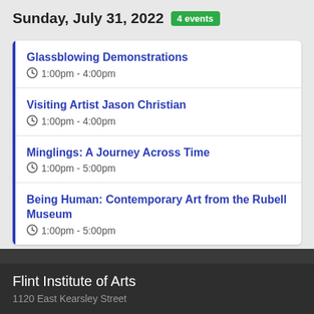Sunday, July 31, 2022  4 events
Glassblowing Demonstrations
1:00pm - 4:00pm
Visiting Artist Jason Christian
1:00pm - 4:00pm
Minglings: A Journey Across Time
1:00pm - 5:00pm
Being Human: Contemporary Art from the Rubell Museum
1:00pm - 5:00pm
Flint Institute of Arts
1120 East Kearsley Street